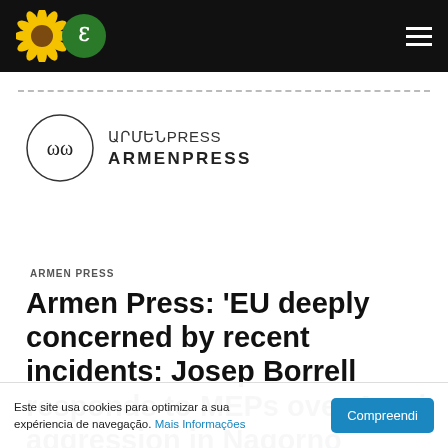Navigation bar with logo and hamburger menu
[Figure (logo): Armenpress logo: circle with Armenian letters and ARMENPRESS text]
ARMEN PRESS
Armen Press: 'EU deeply concerned by recent incidents: Josep Borrell responds to MEPs over Azeri aggression in Nagorno
Este site usa cookies para optimizar a sua expériencia de navegação. Mais Informações